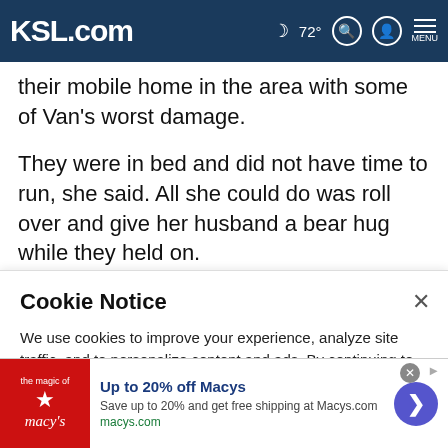KSL.com  72°  [search] [account] MENU
their mobile home in the area with some of Van's worst damage.
They were in bed and did not have time to run, she said. All she could do was roll over and give her husband a bear hug while they held on.
Thelma Crawford said she believes their home lifted off the
Cookie Notice
We use cookies to improve your experience, analyze site traffic, and to personalize content and ads. By continuing to use our site, you consent to our use of cookies. Please visit our Terms of Use and Privacy Policy for more information
[Figure (screenshot): Advertisement banner for Macy's: Up to 20% off Macys. Save up to 20% and get free shipping at Macys.com. macys.com]